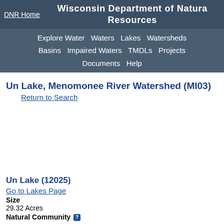DNR Home  Wisconsin Department of Natural Resources
Explore Water  Waters  Lakes  Watersheds  Basins  Impaired Waters  TMDLs  Projects  Documents  Help
Un Lake, Menomonee River Watershed (MI03)
Return to Search
Un Lake (12025)
Go to Lakes Page
Size
29.32 Acres
Natural Community